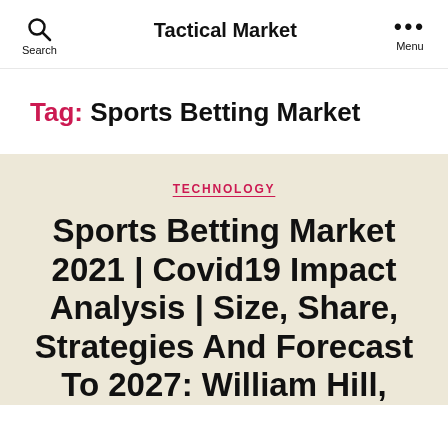Tactical Market
Tag: Sports Betting Market
TECHNOLOGY
Sports Betting Market 2021 | Covid19 Impact Analysis | Size, Share, Strategies And Forecast To 2027: William Hill,